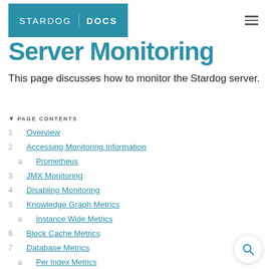STARDOG | DOCS
Server Monitoring
This page discusses how to monitor the Stardog server.
PAGE CONTENTS
1  Overview
2  Accessing Monitoring Information
a  Prometheus
3  JMX Monitoring
4  Disabling Monitoring
5  Knowledge Graph Metrics
a  Instance Wide Metrics
6  Block Cache Metrics
7  Database Metrics
a  Per Index Metrics
8  HTTP Server Metrics